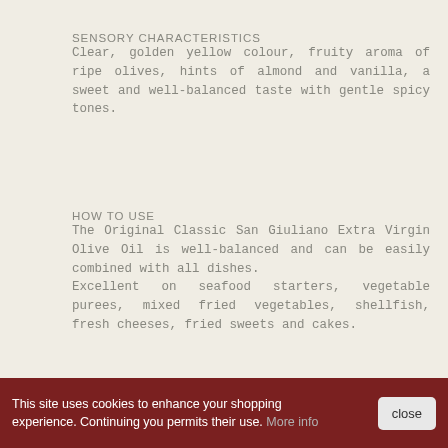SENSORY CHARACTERISTICS
Clear, golden yellow colour, fruity aroma of ripe olives, hints of almond and vanilla, a sweet and well-balanced taste with gentle spicy tones.
HOW TO USE
The Original Classic San Giuliano Extra Virgin Olive Oil is well-balanced and can be easily combined with all dishes.
Excellent on seafood starters, vegetable purees, mixed fried vegetables, shellfish, fresh cheeses, fried sweets and cakes.
RELATED PRODUCTS
This site uses cookies to enhance your shopping experience. Continuing you permits their use. More info